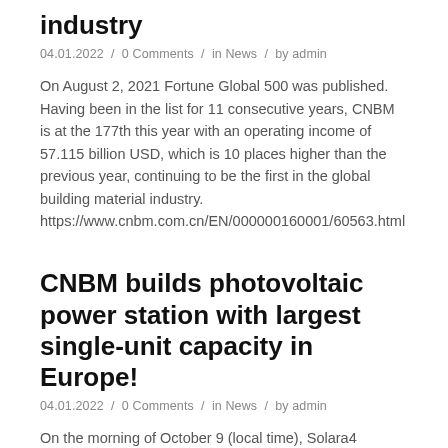industry
04.01.2022  /  0 Comments  /  in News  /  by admin
On August 2, 2021 Fortune Global 500 was published. Having been in the list for 11 consecutive years, CNBM is at the 177th this year with an operating income of 57.115 billion USD, which is 10 places higher than the previous year, continuing to be the first in the global building material industry. https://www.cnbm.com.cn/EN/000000160001/60563.html
CNBM builds photovoltaic power station with largest single-unit capacity in Europe!
04.01.2022  /  0 Comments  /  in News  /  by admin
On the morning of October 9 (local time), Solara4 220MW in Portugal, the large-scale photovoltaic power station, saw its initial power generation ceremony as scheduled at the project site in southern Portugal. This power station has the largest